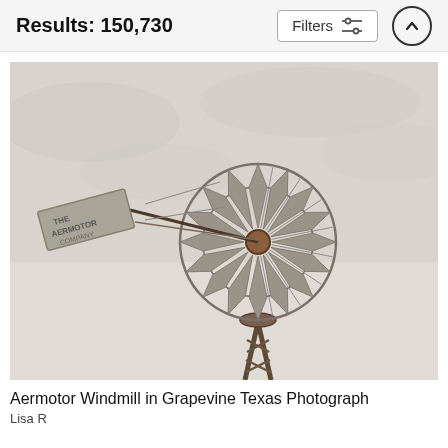Results: 150,730
[Figure (photo): Close-up photograph of an Aermotor windmill against an overcast sky. The windmill features a circular fan wheel with metal blades and a tail vane reading 'THE AERMOTOR COMPANY' in weathered metal letters. The structure is aged galvanized steel with rust accents.]
Aermotor Windmill in Grapevine Texas Photograph
Lisa R